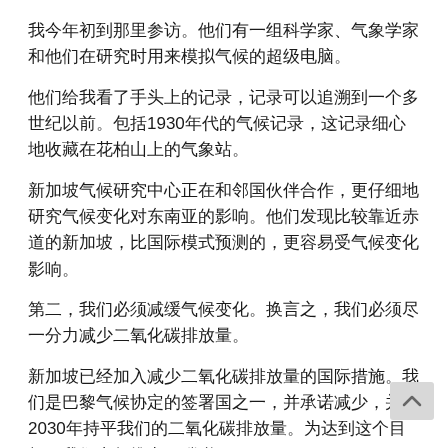我今年初到那里参访。他们有一组科学家、气象学家和他们在研究时用来模拟气候的超级电脑。
他们给我看了手头上的记录，记录可以追溯到一个多世纪以前。包括1930年代的气候记录，这记录细心地收藏在花柏山上的气象站。
新加坡气候研究中心正在和邻国伙伴合作，更仔细地研究气候变化对东南亚的影响。他们发现比较靠近赤道的新加坡，比国际模式预测的，更容易受气候变化影响。
第二，我们必须减缓气候变化。换言之，我们必须尽一分力减少二氧化碳排放量。
新加坡已经加入减少二氧化碳排放量的国际措施。我们是巴黎气候协定的签署国之一，并承诺减少，并在2030年持平我们的二氧化碳排放量。为达到这个目标，我们去年推出了碳税。
为减缓气候变化尽一分力